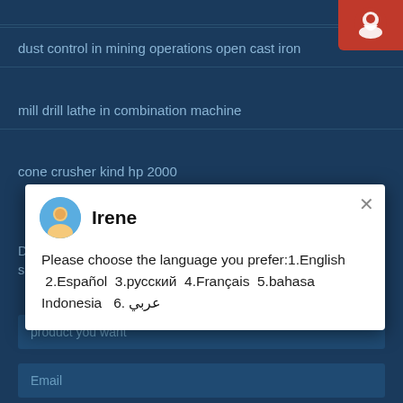dust control in mining operations open cast iron
mill drill lathe in combination machine
cone crusher kind hp 2000
[Figure (screenshot): Chat popup dialog with avatar of 'Irene' asking user to choose language: 1.English 2.Español 3.русский 4.Français 5.bahasa Indonesia 6. عربي]
Pulverize Gum Soels (strikethrough)
Diam nulla id condimentum magna scelerisque ac suspendisse viverra est purus.
product you want
Email